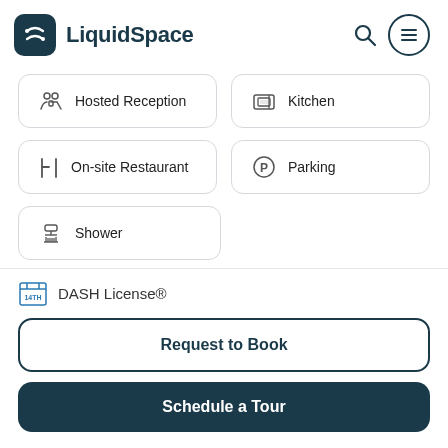LiquidSpace
Hosted Reception
Kitchen
On-site Restaurant
Parking
Shower
DASH License®
Request to Book
Schedule a Tour